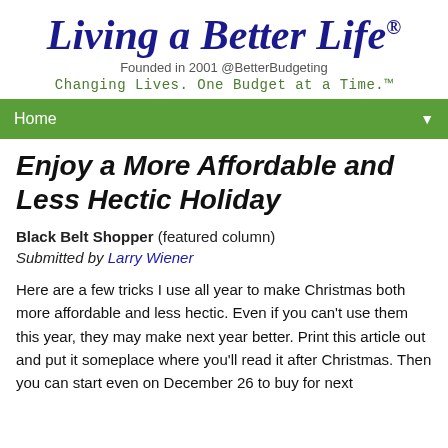Living a Better Life®
Founded in 2001 @BetterBudgeting
Changing Lives. One Budget at a Time.™
Home
Enjoy a More Affordable and Less Hectic Holiday
Black Belt Shopper (featured column)
Submitted by Larry Wiener
Here are a few tricks I use all year to make Christmas both more affordable and less hectic. Even if you can't use them this year, they may make next year better. Print this article out and put it someplace where you'll read it after Christmas. Then you can start even on December 26 to buy for next